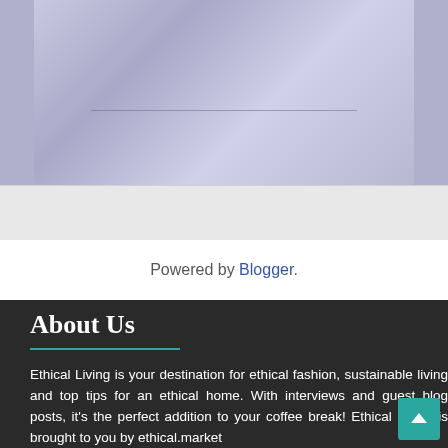[Figure (photo): Blurred/blued-tinted photo of a person, partially cropped, with a faint horizontal line across the middle]
Powered by Blogger.
About Us
Ethical Living is your destination for ethical fashion, sustainable living and top tips for an ethical home. With interviews and guest blog posts, it's the perfect addition to your coffee break! Ethical Living is brought to you by ethical.market